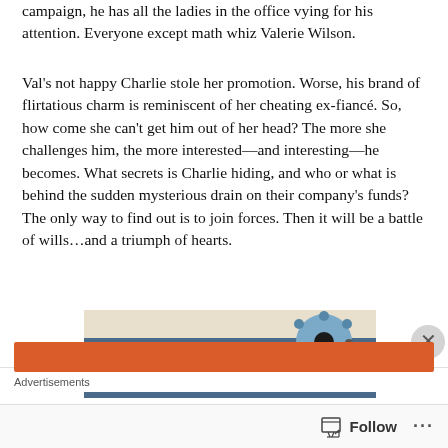campaign, he has all the ladies in the office vying for his attention. Everyone except math whiz Valerie Wilson.
Val's not happy Charlie stole her promotion. Worse, his brand of flirtatious charm is reminiscent of her cheating ex-fiancé. So, how come she can't get him out of her head? The more she challenges him, the more interested—and interesting—he becomes. What secrets is Charlie hiding, and who or what is behind the sudden mysterious drain on their company's funds? The only way to find out is to join forces. Then it will be a battle of wills…and a triumph of hearts.
[Figure (illustration): Decorative banner image with denim-blue background and floral embellishments reading 'THOUGHTS' in large text]
Advertisements
Follow ...